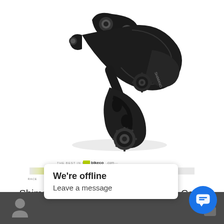[Figure (photo): Shimano XT M8000 rear derailleur, black, medium cage, 1x11 speed, shown on white background]
[Figure (infographic): BikeCo.com ride style spectrum bar showing XC Race, Endurance, Trail, Enduro, Big MTN/Park, Downhill with a yellow-green gradient bar indicating this product's ideal range]
Shimano XT M8000 Derailleur Med. Cage 1x11sp
We're offline
Leave a message